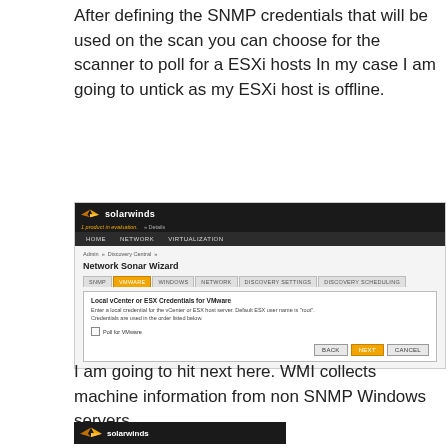After defining the SNMP credentials that will be used on the scan you can choose for the scanner to poll for a ESXi hosts In my case I am going to untick as my ESXi host is offline.
[Figure (screenshot): SolarWinds Network Sonar Wizard - VMware tab showing Local vCenter or ESX Credentials for VMware section with Poll for VMware checkbox unchecked, and BACK, NEXT, CANCEL buttons]
I am going to hit next here. WMI collects machine information from non SNMP Windows servers.
[Figure (screenshot): SolarWinds logo header bar (partial, bottom of page)]